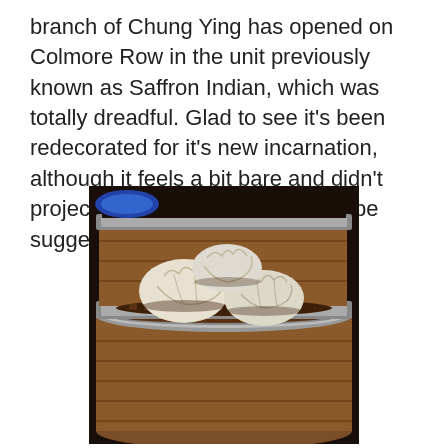branch of Chung Ying has opened on Colmore Row in the unit previously known as Saffron Indian, which was totally dreadful. Glad to see it's been redecorated for it's new incarnation, although it feels a bit bare and didn't project the luxe image that the hype suggests.
[Figure (photo): Photo of Chinese dim sum dumplings in a bamboo steamer basket, viewed from a low angle. Several white dough dumplings are visible inside the round wooden steamer with a metal rim.]